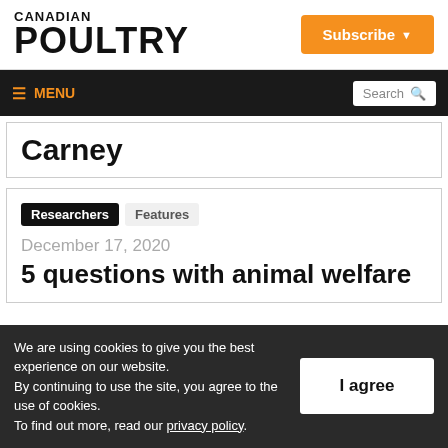CANADIAN POULTRY
Subscribe
MENU | Search
Carney
Researchers | Features
December 17, 2020
5 questions with animal welfare
We are using cookies to give you the best experience on our website. By continuing to use the site, you agree to the use of cookies. To find out more, read our privacy policy.